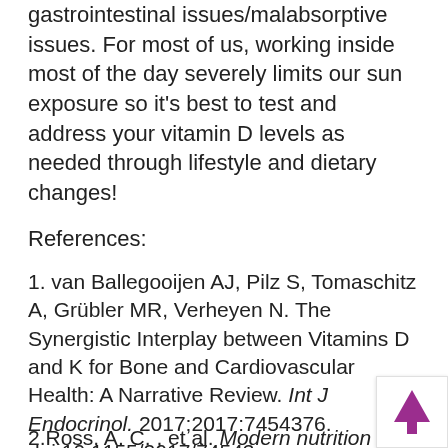gastrointestinal issues/malabsorptive issues. For most of us, working inside most of the day severely limits our sun exposure so it's best to test and address your vitamin D levels as needed through lifestyle and dietary changes!
References:
1. van Ballegooijen AJ, Pilz S, Tomaschitz A, Grübler MR, Verheyen N. The Synergistic Interplay between Vitamins D and K for Bone and Cardiovascular Health: A Narrative Review. Int J Endocrinol. 2017;2017:7454376. doi:10.1155/2017/74543…
2.Ross, A. C. , et al. Modern nutrition in health and…